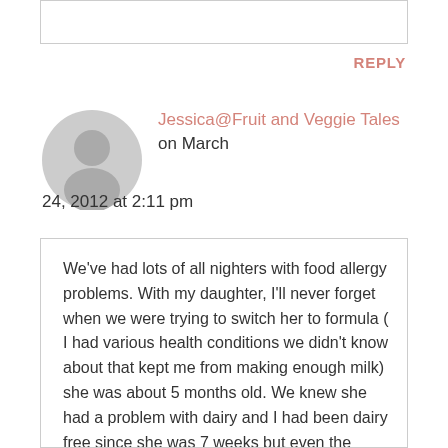REPLY
Jessica@Fruit and Veggie Tales on March 24, 2012 at 2:11 pm
We've had lots of all nighters with food allergy problems. With my daughter, I'll never forget when we were trying to switch her to formula ( I had various health conditions we didn't know about that kept me from making enough milk) she was about 5 months old. We knew she had a problem with dairy and I had been dairy free since she was 7 weeks but even the lactose free formulas were awful for her, soy was even worse and she was in so much pain that she would just cry all night long. It was terrible.